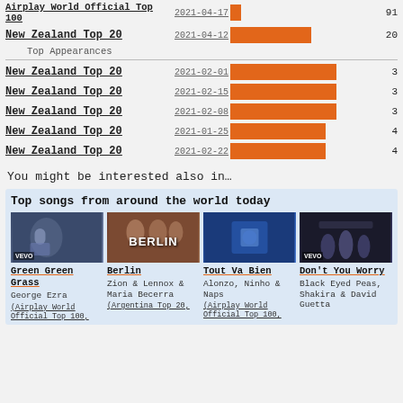| Chart | Date | Bar | Rank |
| --- | --- | --- | --- |
| Airplay World Official Top 100 | 2021-04-17 |  | 91 |
| New Zealand Top 20 | 2021-04-12 |  | 20 |
| New Zealand Top 20 | 2021-02-01 |  | 3 |
| New Zealand Top 20 | 2021-02-15 |  | 3 |
| New Zealand Top 20 | 2021-02-08 |  | 3 |
| New Zealand Top 20 | 2021-01-25 |  | 4 |
| New Zealand Top 20 | 2021-02-22 |  | 4 |
You might be interested also in…
Top songs from around the world today
[Figure (photo): Green Green Grass music video thumbnail - man in suit]
Green Green Grass
George Ezra
(Airplay World Official Top 100,
[Figure (photo): Berlin music video thumbnail with BERLIN text overlay]
Berlin
Zion & Lennox & Maria Becerra
(Argentina Top 20,
[Figure (photo): Tout Va Bien music video thumbnail - blue background]
Tout Va Bien
Alonzo, Ninho & Naps
(Airplay World Official Top 100,
[Figure (photo): Don't You Worry music video thumbnail - dark stage with figures]
Don't You Worry
Black Eyed Peas, Shakira & David Guetta